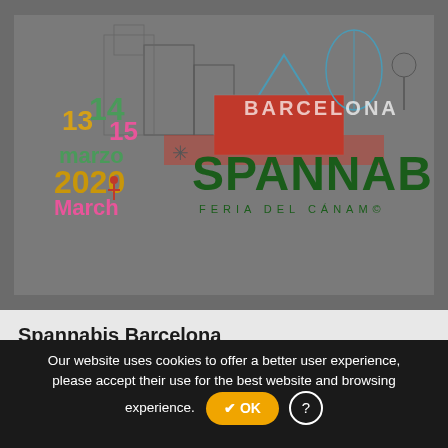[Figure (logo): Spannabis Barcelona event logo showing Barcelona skyline with colorful text '13 14 15 marzo 2020 March' and 'BARCELONA SPANNABIS FERIA DEL CÁNAM©' in green and gold lettering]
Spannabis Barcelona
Venue: Spannabis Barcelona - Fira de Cornellá, Business Center. Tirso de Molina, 34 Cornellà de Llobregat 08940 Barcelona
Date: 13/03/2020 - 15/03/2020
Our website uses cookies to offer a better user experience, please accept their use for the best website and browsing experience. ✔ OK ?